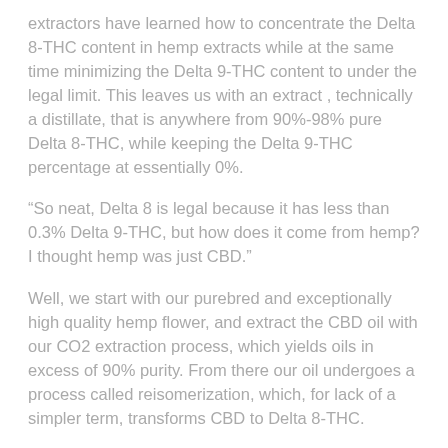extractors have learned how to concentrate the Delta 8-THC content in hemp extracts while at the same time minimizing the Delta 9-THC content to under the legal limit. This leaves us with an extract , technically a distillate, that is anywhere from 90%-98% pure Delta 8-THC, while keeping the Delta 9-THC percentage at essentially 0%.
“So neat, Delta 8 is legal because it has less than 0.3% Delta 9-THC, but how does it come from hemp? I thought hemp was just CBD.”
Well, we start with our purebred and exceptionally high quality hemp flower, and extract the CBD oil with our CO2 extraction process, which yields oils in excess of 90% purity. From there our oil undergoes a process called reisomerization, which, for lack of a simpler term, transforms CBD to Delta 8-THC.
[Figure (engineering-diagram): Partial chemical structure diagrams shown at the bottom of the page, two molecular fragment sketches visible]